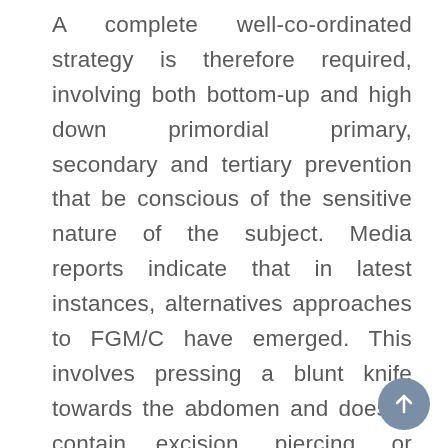A complete well-co-ordinated strategy is therefore required, involving both bottom-up and high down primordial primary, secondary and tertiary prevention that be conscious of the sensitive nature of the subject. Media reports indicate that in latest instances, alternatives approaches to FGM/C have emerged. This involves pressing a blunt knife towards the abdomen and doesn't contain excision, piercing, or pricking of any kind. Incentives could be provided to participate in acceptable various practices and vocational coaching provided to conventional practitioners to